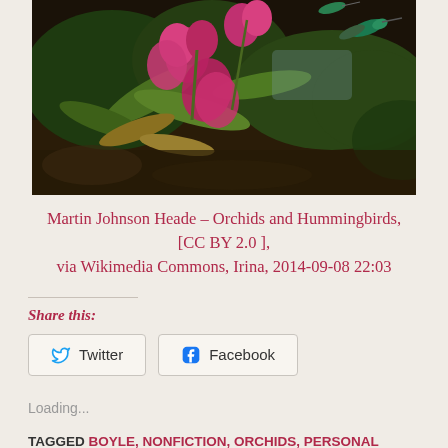[Figure (photo): Painting of orchids and hummingbirds — a colorful botanical artwork by Martin Johnson Heade showing pink orchid blossoms with green leaves and hummingbirds against a dark background]
Martin Johnson Heade – Orchids and Hummingbirds, [CC BY 2.0 ], via Wikimedia Commons, Irina, 2014-09-08 22:03
Share this:
Twitter
Facebook
Loading...
TAGGED BOYLE, NONFICTION, ORCHIDS, PERSONAL